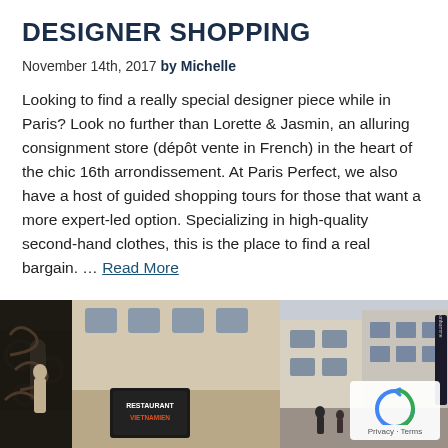DESIGNER SHOPPING
November 14th, 2017 by Michelle
Looking to find a really special designer piece while in Paris? Look no further than Lorette & Jasmin, an alluring consignment store (dépôt vente in French) in the heart of the chic 16th arrondissement. At Paris Perfect, we also have a host of guided shopping tours for those that want a more expert-led option. Specializing in high-quality second-hand clothes, this is the place to find a real bargain. … Read More
[Figure (photo): Street-level photo of a Parisian building with ornate ironwork, a statue, and a Vietnamese restaurant sign]
[Figure (photo): Street photo of Parisian buildings with a narrow store sign on the right side]